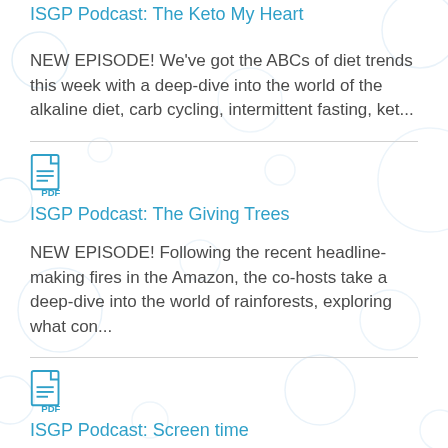ISGP Podcast: The Keto My Heart
NEW EPISODE! We've got the ABCs of diet trends this week with a deep-dive into the world of the alkaline diet, carb cycling, intermittent fasting, ket...
[Figure (other): PDF file icon in blue outline style]
ISGP Podcast: The Giving Trees
NEW EPISODE! Following the recent headline-making fires in the Amazon, the co-hosts take a deep-dive into the world of rainforests, exploring what con...
[Figure (other): PDF file icon in blue outline style]
ISGP Podcast: Screen time